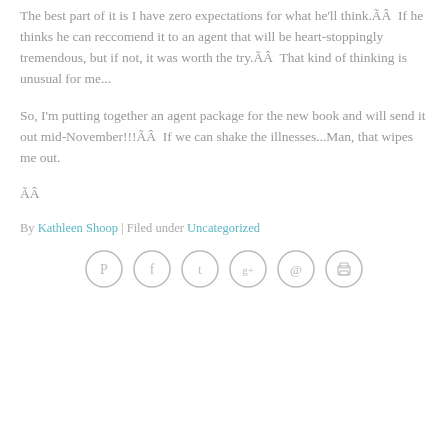The best part of it is I have zero expectations for what he'll think.ÃÂ  If he thinks he can reccomend it to an agent that will be heart-stoppingly tremendous, but if not, it was worth the try.ÃÂ  That kind of thinking is unusual for me...
So, I'm putting together an agent package for the new book and will send it out mid-November!!!ÃÂ  If we can shake the illnesses...Man, that wipes me out.
ÃÂ
By Kathleen Shoop | Filed under Uncategorized
[Figure (infographic): Row of 6 social media sharing icon buttons: Pinterest, Facebook, Twitter, Google+, Email, Print]